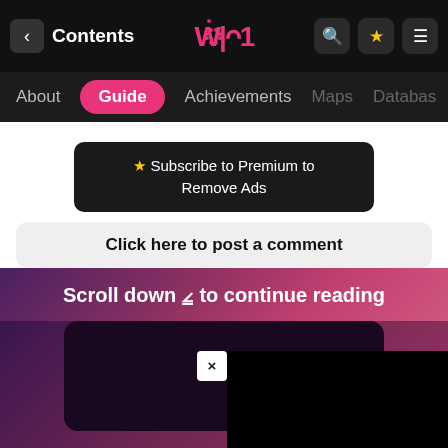< Contents | [logo] | Search | Star | Menu
About | Guide | Achievements | Maps | Database
★ Subscribe to Premium to Remove Ads
Click here to post a comment
Scroll down ❯ to continue reading
[Figure (screenshot): Dark ad panel with close X button overlaid on gradient purple-pink background]